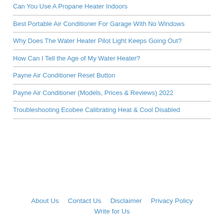Can You Use A Propane Heater Indoors
Best Portable Air Conditioner For Garage With No Windows
Why Does The Water Heater Pilot Light Keeps Going Out?
How Can I Tell the Age of My Water Heater?
Payne Air Conditioner Reset Button
Payne Air Conditioner (Models, Prices & Reviews) 2022
Troubleshooting Ecobee Calibrating Heat & Cool Disabled
About Us   Contact Us   Disclaimer   Privacy Policy   Write for Us